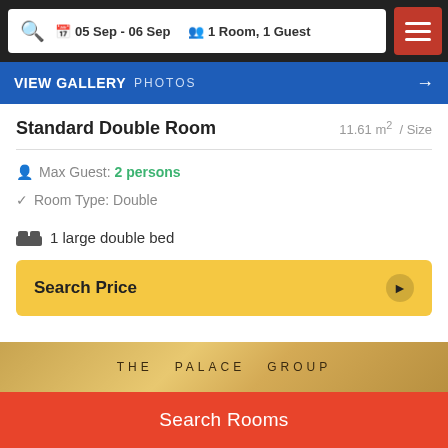05 Sep - 06 Sep  1 Room, 1 Guest
[Figure (screenshot): Blue gallery bar with VIEW GALLERY PHOTOS text and right arrow]
Standard Double Room  11.61 m² / Size
Max Guest: 2 persons
Room Type: Double
1 large double bed
Search Price
[Figure (photo): Hotel image strip showing THE PALACE GROUP text on golden/amber background]
Search Rooms